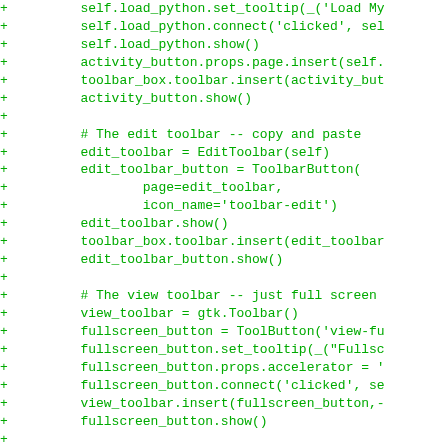Code diff showing additions of Python GUI code including load_python, activity_button, edit_toolbar, view_toolbar sections